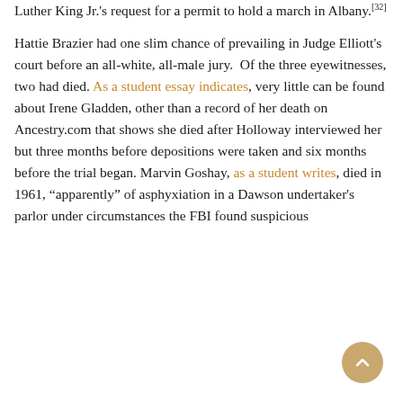Luther King Jr.'s request for a permit to hold a march in Albany.[32]
Hattie Brazier had one slim chance of prevailing in Judge Elliott's court before an all-white, all-male jury.  Of the three eyewitnesses, two had died. As a student essay indicates, very little can be found about Irene Gladden, other than a record of her death on Ancestry.com that shows she died after Holloway interviewed her but three months before depositions were taken and six months before the trial began. Marvin Goshay, as a student writes, died in 1961, "apparently" of asphyxiation in a Dawson undertaker's parlor under circumstances the FBI found suspicious